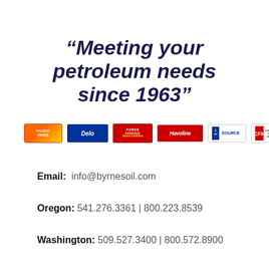“Meeting your petroleum needs since 1963”
[Figure (logo): Row of brand logos: Pacific Pride, Delo, Power Service Diesel Additives, Havoline, Chevron 1st Source, CFN]
Email: info@byrnesoil.com
Oregon: 541.276.3361 | 800.223.8539
Washington: 509.527.3400 | 800.572.8900